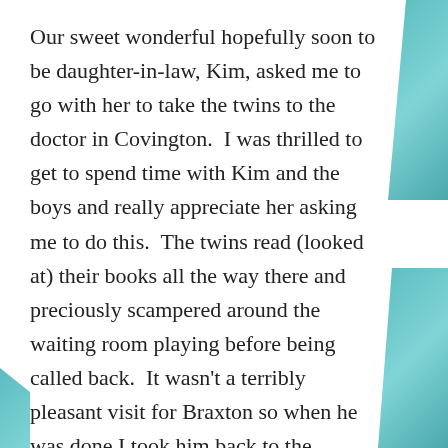Our sweet wonderful hopefully soon to be daughter-in-law, Kim, asked me to go with her to take the twins to the doctor in Covington.  I was thrilled to get to spend time with Kim and the boys and really appreciate her asking me to do this.  The twins read (looked at) their books all the way there and preciously scampered around the waiting room playing before being called back.  It wasn't a terribly pleasant visit for Braxton so when he was done I took him back to the waiting room so mama Kim could have a quiet room for Bentley to be check out.
Now that a contract has been signed we can move on to the next step in our housing adventure.  We want either a piece of land on which we can build a small house to rent, and park our RV on it when we come in town.  Or an already build house with enough land for us